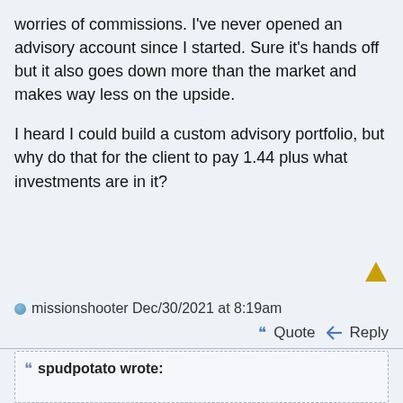worries of commissions. I've never opened an advisory account since I started. Sure it's hands off but it also goes down more than the market and makes way less on the upside.
I heard I could build a custom advisory portfolio, but why do that for the client to pay 1.44 plus what investments are in it?
missionshooter Dec/30/2021 at 8:19am
Quote  Reply
spudpotato wrote: